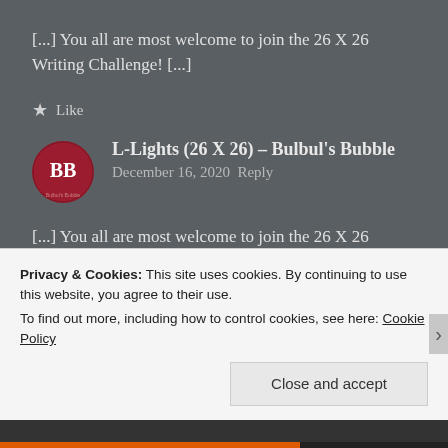[...] You all are most welcome to join the 26 X 26 Writing Challenge! [...]
★ Like
[Figure (logo): Bulbul's Bubble avatar — dark red circle with white 'BB' letters]
L-Lights (26 X 26) – Bulbul's Bubble
December 16, 2020 Reply
[...] You all are most welcome to join the 26 X 26
Privacy & Cookies: This site uses cookies. By continuing to use this website, you agree to their use.
To find out more, including how to control cookies, see here: Cookie Policy
Close and accept